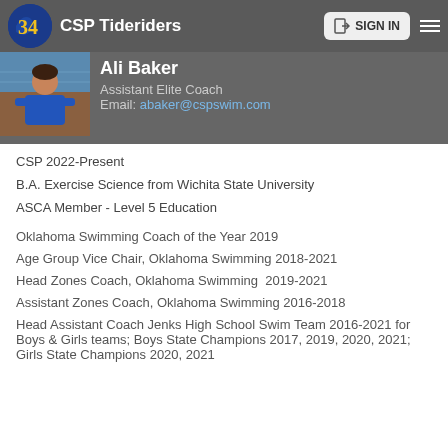CSP Tideriders   SIGN IN
Ali Baker
Assistant Elite Coach
Email: abaker@cspswim.com
[Figure (photo): Profile photo of Ali Baker, a woman in a blue polo shirt standing near a pool]
CSP 2022-Present
B.A. Exercise Science from Wichita State University
ASCA Member - Level 5 Education
Oklahoma Swimming Coach of the Year 2019
Age Group Vice Chair, Oklahoma Swimming 2018-2021
Head Zones Coach, Oklahoma Swimming  2019-2021
Assistant Zones Coach, Oklahoma Swimming 2016-2018
Head Assistant Coach Jenks High School Swim Team 2016-2021 for Boys & Girls teams; Boys State Champions 2017, 2019, 2020, 2021; Girls State Champions 2020, 2021